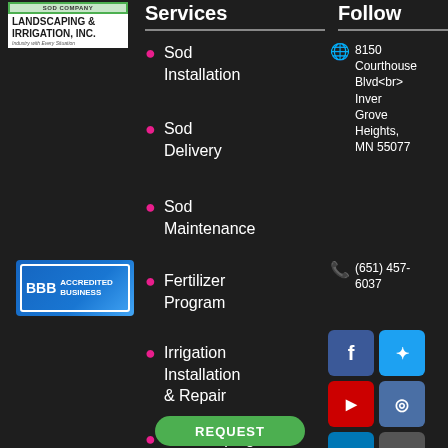[Figure (logo): Sod Company Landscaping & Irrigation, Inc. company logo with green border and white background, including tagline 'Industry with Every Situation']
[Figure (logo): BBB Accredited Business badge with blue gradient background and white border]
Services
Sod Installation
Sod Delivery
Sod Maintenance
Fertilizer Program
Irrigation Installation & Repair
Landscaping
Follow
8150 Courthouse Blvd<br> Inver Grove Heights, MN 55077
(651) 457-6037
[Figure (infographic): Social media buttons: Facebook (blue), Twitter (light blue), YouTube (red), Instagram (blue-grey), LinkedIn (blue), and a scroll-up button (grey)]
REQUEST